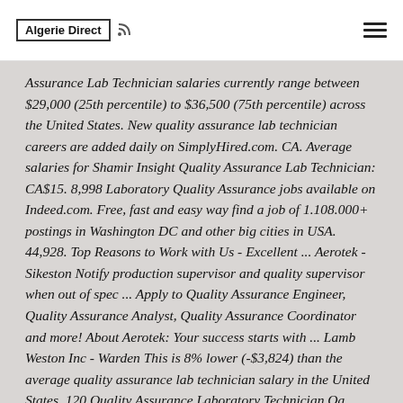Algerie Direct
Assurance Lab Technician salaries currently range between $29,000 (25th percentile) to $36,500 (75th percentile) across the United States. New quality assurance lab technician careers are added daily on SimplyHired.com. CA. Average salaries for Shamir Insight Quality Assurance Lab Technician: CA$15. 8,998 Laboratory Quality Assurance jobs available on Indeed.com. Free, fast and easy way find a job of 1.108.000+ postings in Washington DC and other big cities in USA. 44,928. Top Reasons to Work with Us - Excellent ... Aerotek - Sikeston Notify production supervisor and quality supervisor when out of spec ... Apply to Quality Assurance Engineer, Quality Assurance Analyst, Quality Assurance Coordinator and more! About Aerotek: Your success starts with ... Lamb Weston Inc - Warden This is 8% lower (-$3,824) than the average quality assurance lab technician salary in the United States. 120 Quality Assurance Laboratory Technician Qa Laboratory Technician Jobs